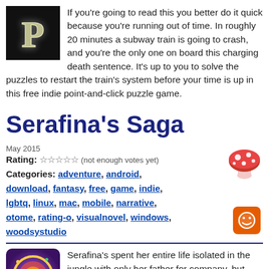If you're going to read this you better do it quick because you're running out of time. In roughly 20 minutes a subway train is going to crash, and you're the only one on board this charging death sentence. It's up to you to solve the puzzles to restart the train's system before your time is up in this free indie point-and-click puzzle game.
Serafina's Saga
May 2015
Rating: ☆☆☆☆☆ (not enough votes yet)
Categories: adventure, android, download, fantasy, free, game, indie, lgbtq, linux, mac, mobile, narrative, otome, rating-o, visualnovel, windows, woodsystudio
[Figure (illustration): Mushroom emoji illustration — pink/red cap with white spots]
[Figure (illustration): Orange rounded square icon with a smiling face (Bloglovin or similar social icon)]
Serafina's spent her entire life isolated in the jungle with only her father for company, but when he's kidnapped and she sets out to rescue him, she discovers more than she ever thought possible about the world and people outside, and herself, in this pay-what-